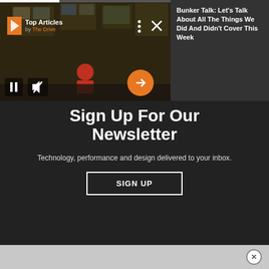[Figure (screenshot): Video player showing a control room scene with a person in red shirt. Contains playback controls: pause button, mute button, and orange arrow/next button. Progress bar at top. 'Top Articles by The Drive' badge in top-left. Three-dot menu and X close button in top-right.]
Bunker Talk: Let's Talk About All The Things We Did And Didn't Cover This Week
Sign Up For Our Newsletter
Technology, performance and design delivered to your inbox.
SIGN UP